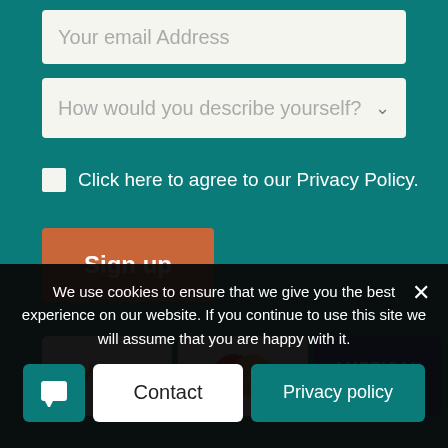Your email Address
How would you describe yourself?
Click here to agree to our Privacy Policy.
Sign up
[Figure (other): Payment method logos: VISA, MasterCard, American Express]
We use cookies to ensure that we give you the best experience on our website. If you continue to use this site we will assume that you are happy with it.
Contact
Privacy policy